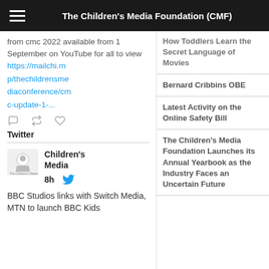The Children's Media Foundation (CMF)
from cmc 2022 available from 1 September on YouTube for all to view https://mailchi.mp/thechildrensmediaconference/cmc-update-1-...
Twitter
[Figure (logo): The Children's Media Foundation logo/avatar]
Children's Media
8h
BBC Studios links with Switch Media, MTN to launch BBC Kids
How Toddlers Learn the Secret Language of Movies
Bernard Cribbins OBE
Latest Activity on the Online Safety Bill
The Children's Media Foundation Launches its Annual Yearbook as the Industry Faces an Uncertain Future